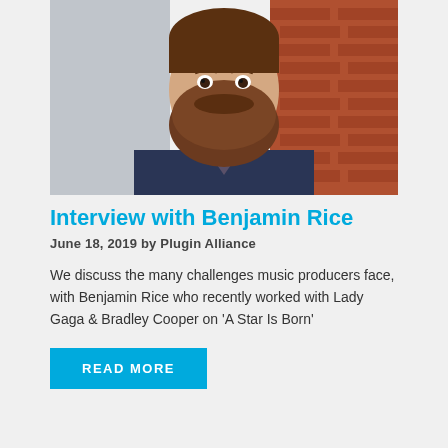[Figure (photo): Portrait photo of Benjamin Rice, a bearded man with neck tattoos wearing a dark blue sweater, standing in front of a brick wall]
Interview with Benjamin Rice
June 18, 2019 by Plugin Alliance
We discuss the many challenges music producers face, with Benjamin Rice who recently worked with Lady Gaga & Bradley Cooper on 'A Star Is Born'
READ MORE